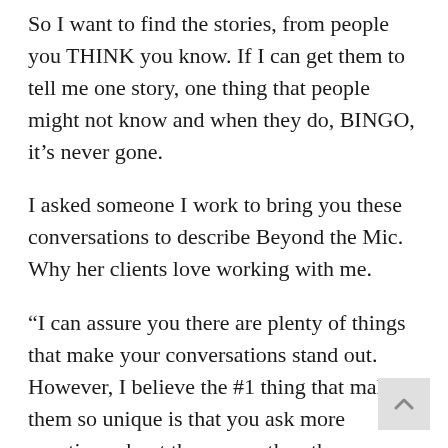So I want to find the stories, from people you THINK you know. If I can get them to tell me one story, one thing that people might not know and when they do, BINGO, it's never gone.
I asked someone I work to bring you these conversations to describe Beyond the Mic. Why her clients love working with me.
“I can assure you there are plenty of things that make your conversations stand out. However, I believe the #1 thing that makes them so unique is that you ask more questions about the person than the production. Everything moves very quickly when it comes to entertainment. With the